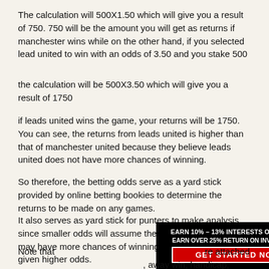The calculation will 500X1.50 which will give you a result of 750. 750 will be the amount you will get as returns if manchester wins while on the other hand, if you selected lead united to win with an odds of 3.50 and you stake 500
the calculation will be 500X3.50 which will give you a result of 1750
if leads united wins the game, your returns will be 1750. You can see, the returns from leads united is higher than that of manchester united because they believe leads united does not have more chances of winning.
So therefore, the betting odds serve as a yard stick provided by online betting bookies to determine the returns to be made on any games.
It also serves as yard stick for punters to make analysis since smaller odds will assume the team that is given such may have more chances of winning than the team that is given higher odds.
[Figure (infographic): Black advertisement banner with text 'Earn 10% – 13% interests on savings', 'Earn over 25% Return on investments', and a red button 'GET STARTED NOW']
Note that ... are attached ... , away win, handicap, under/over, corner kick, first team to score, double...